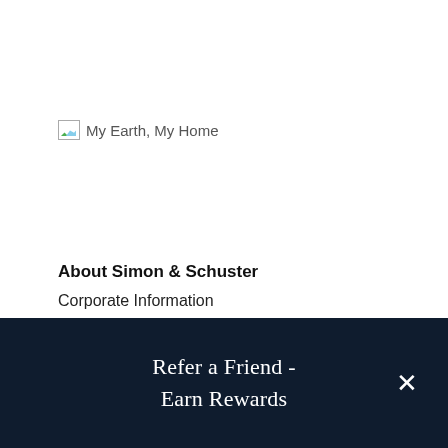[Figure (illustration): Broken image placeholder with green and blue landscape thumbnail icon, labeled 'My Earth, My Home']
About Simon & Schuster
Corporate Information
Divisions & Imprints
Press Releases
Careers
Social Impact
Refer a Friend - Earn Rewards